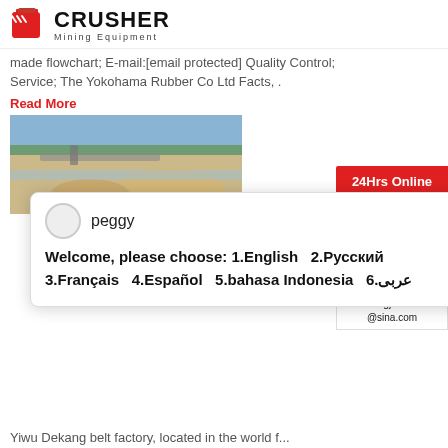[Figure (logo): Crusher Mining Equipment logo with red shopping bag icon and bold text]
made flowchart; E-mail:[email protected] Quality Control; Service; The Yokohama Rubber Co Ltd Facts, .
Read More
[Figure (photo): Outdoor mining/quarry site with conveyor belt and sand piles]
[Figure (screenshot): 24Hrs Online badge in red]
[Figure (infographic): Chat popup with avatar named peggy showing multilingual welcome message]
Welcome, please choose: 1.English  2.Русский 3.Français  4.Español  5.bahasa Indonesia  6.عربى
Yiwu Dekang belt factory, located in the world f... commordity city-Yiwu, ... Ep150 Yokohama Con... with Sidewall Made in Shandong China
Read More
[Figure (photo): Heavy mining crusher equipment outdoors]
Need & sugg... Chat Now
Enquiry
limingjlmofen@sina.com